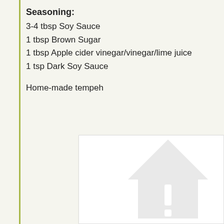Seasoning:
3-4 tbsp Soy Sauce
1 tbsp Brown Sugar
1 tbsp Apple cider vinegar/vinegar/lime juice
1 tsp Dark Soy Sauce
Home-made tempeh
[Figure (photo): A photo placeholder area with a partially visible warning/image icon (grey house/upload icon) in the bottom-right corner.]